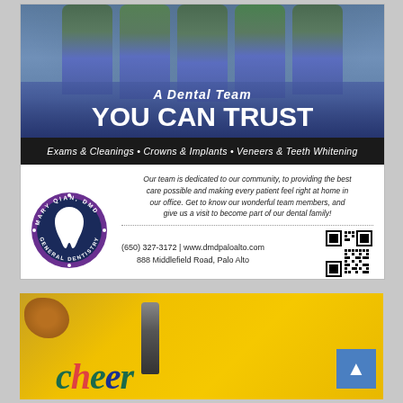[Figure (photo): Dental team advertisement with staff photo and blue gradient overlay. Top section shows dental team members in blue scrubs.]
A DENTAL TEAM YOU CAN TRUST
Exams & Cleanings • Crowns & Implants • Veneers & Teeth Whitening
[Figure (logo): Mary Qian DMD General Dentistry circular logo with tooth icon]
Our team is dedicated to our community, to providing the best care possible and making every patient feel right at home in our office. Get to know our wonderful team members, and give us a visit to become part of our dental family!
(650) 327-3172 | www.dmdpaloalto.com
888 Middlefield Road, Palo Alto
[Figure (other): QR code for dmdpaloalto.com]
[Figure (photo): Bottom portion of a second advertisement showing yellow background with food items (croissant, wine bottle) and partial colorful text]